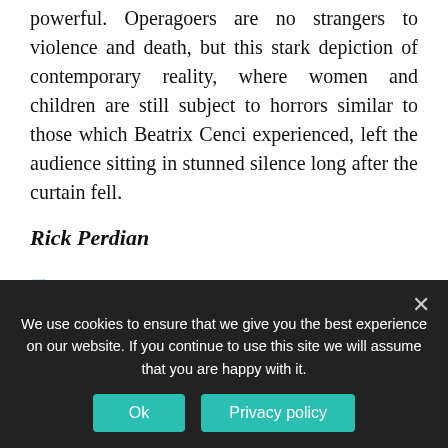depleted as little more than a piece of meat was powerful. Operagoers are no strangers to violence and death, but this stark depiction of contemporary reality, where women and children are still subject to horrors similar to those which Beatrix Cenci experienced, left the audience sitting in stunned silence long after the curtain fell.
Rick Perdian
Festival 2019, Festivals, International Opera, Opera & Ballet
We use cookies to ensure that we give you the best experience on our website. If you continue to use this site we will assume that you are happy with it.